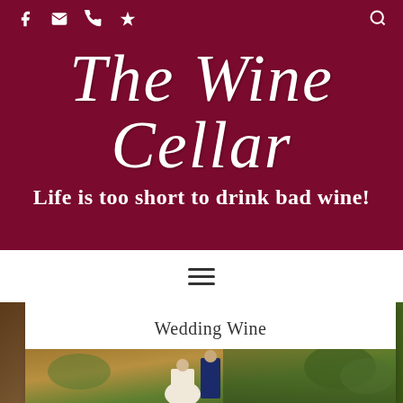Social media icons (Facebook, Email, Phone, Yelp) and Search icon
The Wine Cellar
Life is too short to drink bad wine!
[Figure (screenshot): Navigation hamburger menu icon (three horizontal lines) on white bar]
Wedding Wine
[Figure (photo): Wedding couple outdoors: bride in white dress and groom in navy suit with bow tie, standing against a green leafy background]